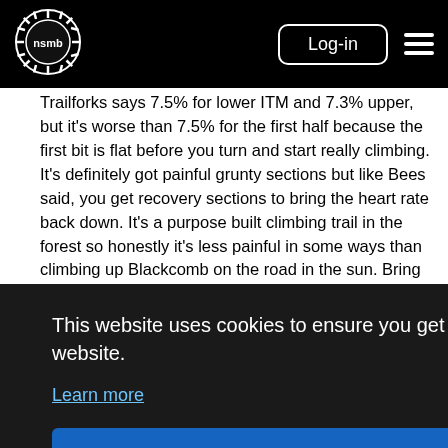nsmb Log-in
Trailforks says 7.5% for lower ITM and 7.3% upper, but it's worse than 7.5% for the first half because the first bit is flat before you turn and start really climbing. It's definitely got painful grunty sections but like Bees said, you get recovery sections to bring the heart rate back down. It's a purpose built climbing trail in the forest so honestly it's less painful in some ways than climbing up Blackcomb on the road in the sun. Bring lots of water/food and take breaks. On 2+ hour climbs I find I'm faster
section in the alpine. The actual LOTS descent is pretty damn fun as long as it isn't super wet as
This website uses cookies to ensure you get the best experience on our website.
Learn more
Got it!